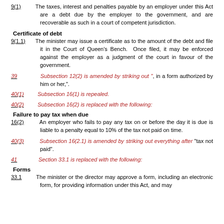9(1)   The taxes, interest and penalties payable by an employer under this Act are a debt due by the employer to the government, and are recoverable as such in a court of competent jurisdiction.
Certificate of debt
9(1.1)   The minister may issue a certificate as to the amount of the debt and file it in the Court of Queen's Bench. Once filed, it may be enforced against the employer as a judgment of the court in favour of the government.
39   Subsection 12(2) is amended by striking out ", in a form authorized by him or her,".
40(1)   Subsection 16(1) is repealed.
40(2)   Subsection 16(2) is replaced with the following:
Failure to pay tax when due
16(2)   An employer who fails to pay any tax on or before the day it is due is liable to a penalty equal to 10% of the tax not paid on time.
40(3)   Subsection 16(2.1) is amended by striking out everything after "tax not paid".
41   Section 33.1 is replaced with the following:
Forms
33.1   The minister or the director may approve a form, including an electronic form, for providing information under this Act, and may